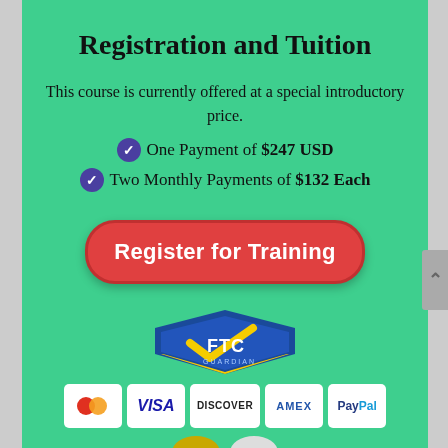Registration and Tuition
This course is currently offered at a special introductory price.
One Payment of $247 USD
Two Monthly Payments of $132 Each
[Figure (other): Red rounded button with white bold text 'Register for Training']
[Figure (logo): FTC Guardian logo — blue shield with yellow checkmark and FTC text]
[Figure (other): Payment method icons: Mastercard, VISA, DISCOVER, AMEX, PayPal]
[Figure (other): Satisfaction guarantee badges at bottom]